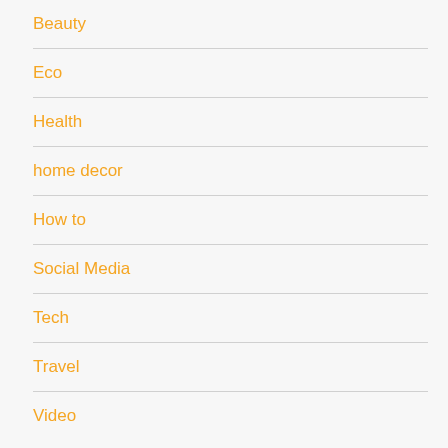Beauty
Eco
Health
home decor
How to
Social Media
Tech
Travel
Video